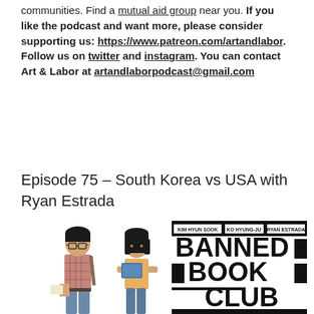communities. Find a mutual aid group near you. If you like the podcast and want more, please consider supporting us: https://www.patreon.com/artandlabor. Follow us on twitter and instagram. You can contact Art & Labor at artandlaborpodcast@gmail.com
Episode 75 – South Korea vs USA with Ryan Estrada
[Figure (illustration): Book cover illustration for 'Banned Book Club' by Kim Hyun Sook, Ko Hyung-Ju, and Ryan Estrada. Shows two illustrated characters: a male figure with glasses and a backpack on the left, and a female figure with a bob haircut holding a blue book on the right. On the right side is the book title 'BANNED BOOK CLUB' in large bold black letters with black redaction bars, along with the authors' names at the top.]